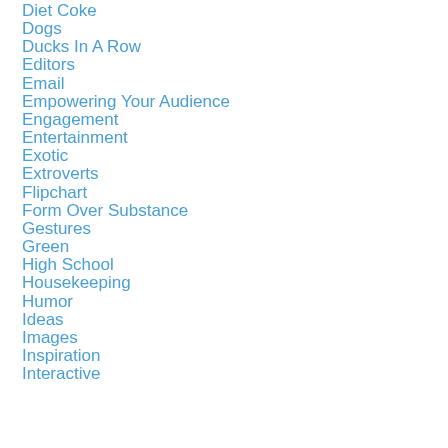Diet Coke
Dogs
Ducks In A Row
Editors
Email
Empowering Your Audience
Engagement
Entertainment
Exotic
Extroverts
Flipchart
Form Over Substance
Gestures
Green
High School
Housekeeping
Humor
Ideas
Images
Inspiration
Interactive